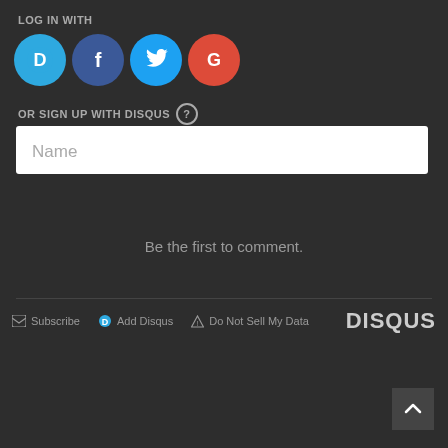LOG IN WITH
[Figure (screenshot): Social login buttons: Disqus (cyan circle with D), Facebook (blue circle with f), Twitter (blue circle with bird), Google (red circle with G)]
OR SIGN UP WITH DISQUS ?
[Figure (screenshot): Name text input field with placeholder text 'Name']
Be the first to comment.
Subscribe  Add Disqus  Do Not Sell My Data  DISQUS